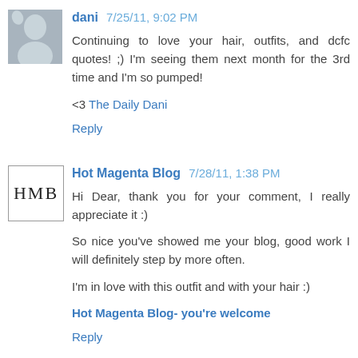dani 7/25/11, 9:02 PM
Continuing to love your hair, outfits, and dcfc quotes! ;) I'm seeing them next month for the 3rd time and I'm so pumped!
<3 The Daily Dani
Reply
Hot Magenta Blog 7/28/11, 1:38 PM
Hi Dear, thank you for your comment, I really appreciate it :)
So nice you've showed me your blog, good work I will definitely step by more often.
I'm in love with this outfit and with your hair :)
Hot Magenta Blog- you're welcome
Reply